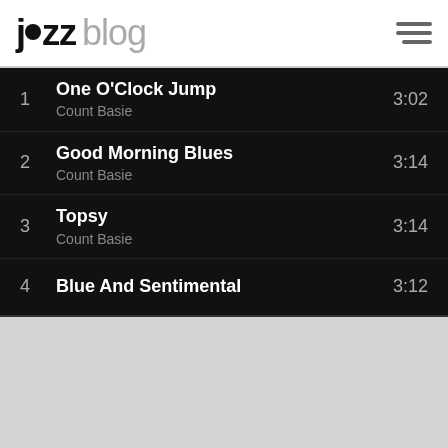jazz blog
| # | Title / Artist | Duration |
| --- | --- | --- |
| 1 | One O'Clock Jump
Count Basie | 3:02 |
| 2 | Good Morning Blues
Count Basie | 3:14 |
| 3 | Topsy
Count Basie | 3:14 |
| 4 | Blue And Sentimental | 3:12 |
[Figure (other): Light gray placeholder area below the tracklist]